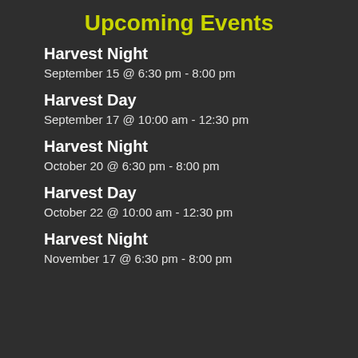Upcoming Events
Harvest Night
September 15 @ 6:30 pm - 8:00 pm
Harvest Day
September 17 @ 10:00 am - 12:30 pm
Harvest Night
October 20 @ 6:30 pm - 8:00 pm
Harvest Day
October 22 @ 10:00 am - 12:30 pm
Harvest Night
November 17 @ 6:30 pm - 8:00 pm